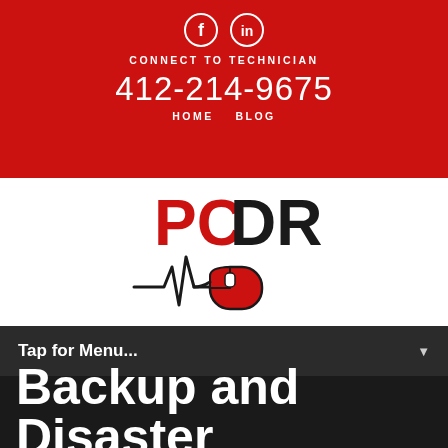[Figure (logo): Social media icons: Facebook and LinkedIn circles in white outline on red background]
CONNECT TO TECHNICIAN
412-214-9675
HOME   BLOG
[Figure (logo): PCDR logo with red PC text and black DR text, with heartbeat line leading to a red computer mouse icon]
Tap for Menu...
Backup and Disaster